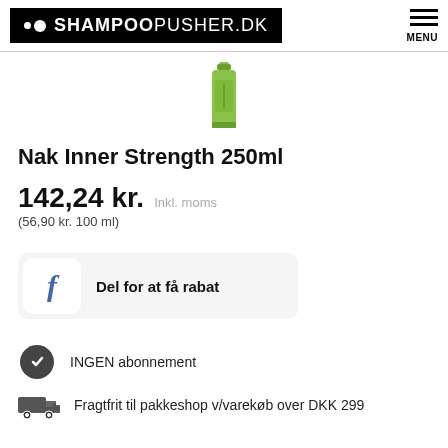SHAMPOOPUSHER.DK
[Figure (photo): Green cylindrical bottle of Nak Inner Strength 250ml product]
Nak Inner Strength 250ml
142,24 kr. Inkl. moms (56,90 kr. 100 ml)
Del for at få rabat
INGEN abonnement
Fragtfrit til pakkeshop v/varekøb over DKK 299